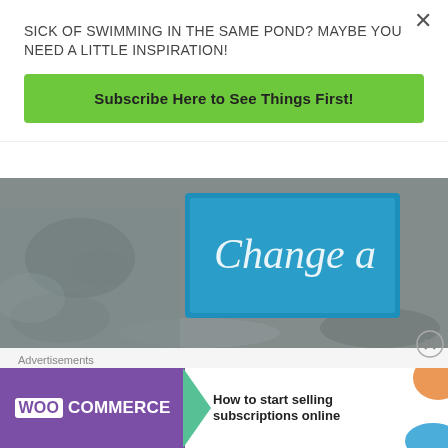SICK OF SWIMMING IN THE SAME POND? MAYBE YOU NEED A LITTLE INSPIRATION!
Subscribe Here to See Things First!
[Figure (photo): Partially visible image showing a teal/blue sign with cursive script text, placed on a rough stone/concrete surface.]
JustsumInspiration is on FB Click the FB link to see today's post.
Advertisements
[Figure (screenshot): WooCommerce advertisement banner: purple left section with WooCommerce logo and green arrow, right section with text 'How to start selling subscriptions online' and orange/blue decorative shapes.]